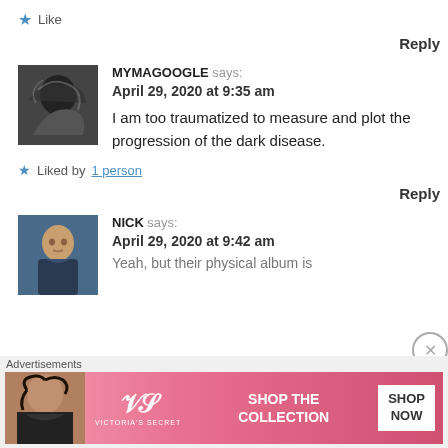★ Like
Reply
MYMAGOOGLE says: April 29, 2020 at 9:35 am
I am too traumatized to measure and plot the progression of the dark disease.
★ Liked by 1 person
Reply
NICK says: April 29, 2020 at 9:42 am
Yeah, but their physical album is
Advertisements
[Figure (photo): Victoria's Secret advertisement banner with a model, VS logo, 'SHOP THE COLLECTION' text, and 'SHOP NOW' button]